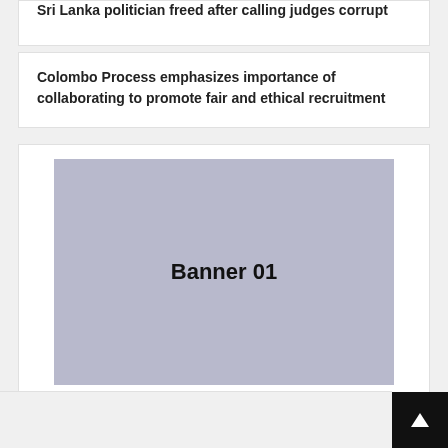Sri Lanka politician freed after calling judges corrupt
Colombo Process emphasizes importance of collaborating to promote fair and ethical recruitment
[Figure (other): Placeholder banner image labeled 'Banner 01' with grey background]